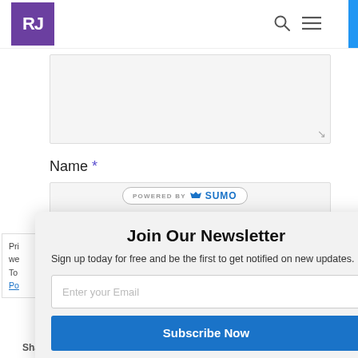[Figure (logo): RJ logo in purple square with search and menu icons in header]
[Figure (screenshot): Textarea input field (gray background, resize handle)]
Name *
[Figure (screenshot): Name text input field with POWERED BY SUMO badge overlay]
Pri we To Po
Shares
Join Our Newsletter
Sign up today for free and be the first to get notified on new updates.
Enter your Email
Subscribe Now